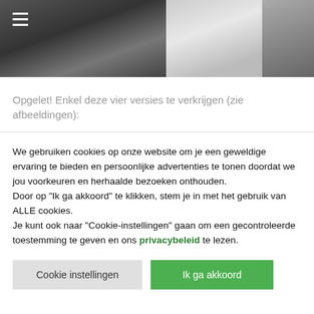[Figure (photo): Header banner with two photos: left shows two people in a dark interior, right shows a woman washing hair with foam, and a partial third photo on far right]
Opgelet! Enkel deze vier versies te verkrijgen (zie afbeeldingen):
We gebruiken cookies op onze website om je een geweldige ervaring te bieden en persoonlijke advertenties te tonen doordat we jou voorkeuren en herhaalde bezoeken onthouden.
Door op "Ik ga akkoord" te klikken, stem je in met het gebruik van ALLE cookies.
Je kunt ook naar "Cookie-instellingen" gaan om een gecontroleerde toestemming te geven en ons privacybeleid te lezen.
Cookie instellingen
Ik ga akkoord